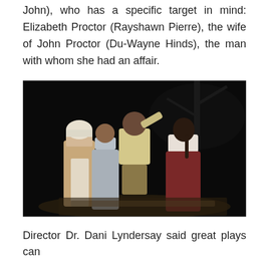John), who has a specific target in mind: Elizabeth Proctor (Rayshawn Pierre), the wife of John Proctor (Du-Wayne Hinds), the man with whom she had an affair.
[Figure (photo): Stage performance photo showing actors in period costumes (colonial/Puritan style long skirts and headscarves) on a dark stage, appearing to be in a dramatic scene. Multiple female actors are visible, with one in the center wearing a light yellow top.]
Director Dr. Dani Lyndersay said great plays can